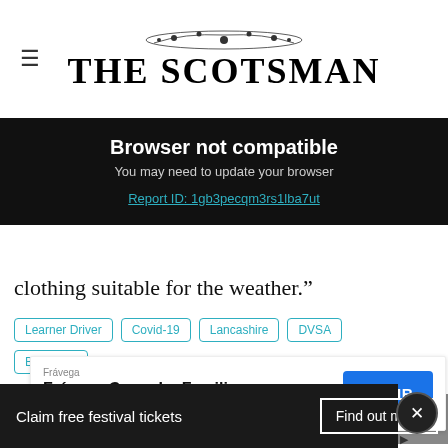THE SCOTSMAN
Browser not compatible
You may need to update your browser
Report ID: 1gb3pecqm3rs1lba7ut
clothing suitable for the weather.”
Learner Driver
Covid-19
Lancashire
DVSA
Blackpool
Frávega Como La Familia
More Stories
Claim free festival tickets
Find out more